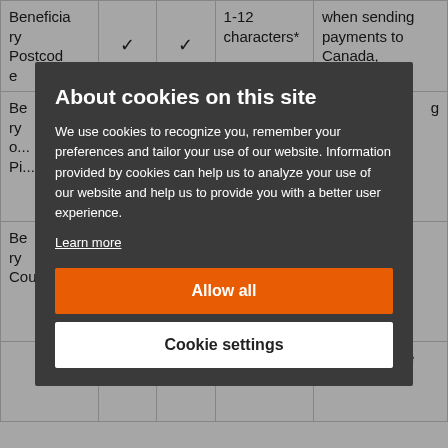| Field |  |  | Format | Notes |
| --- | --- | --- | --- | --- |
| Beneficiary Postcode | ✓ | ✓ | 1-12 characters* | when sending payments to Canada, Mexico and |
| Be...ry o... Pi... |  |  |  | ...g... |
| Be...ry Country |  |  | ...code |  |
|  |  |  |  | IBAN must be |
[Figure (screenshot): Cookie consent modal overlay on a dark semi-transparent background. Title: 'About cookies on this site'. Body text explains cookie usage. Contains 'Learn more' link, 'Allow all' orange button, and 'Cookie settings' white button.]